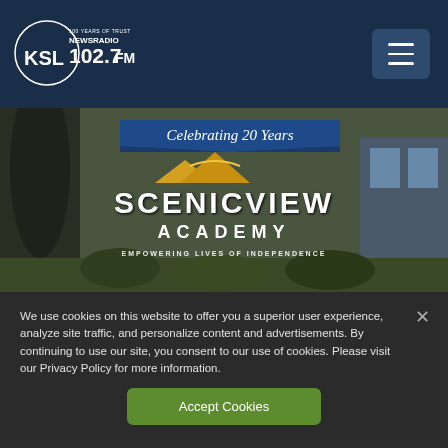KSL NewsRadio 102.7FM - 100 Years of Trust
[Figure (logo): KSL NewsRadio 102.7FM logo with '100 Years of Trust' tagline inside a circle]
[Figure (photo): Scenic View Academy promotional image with text 'Celebrating 20 Years', mountain graphic, SCENICVIEW ACADEMY, and tagline 'EMPOWERING LIVES OF INDEPENDENCE' overlaid on an outdoor background]
We use cookies on this website to offer you a superior user experience, analyze site traffic, and personalize content and advertisements. By continuing to use our site, you consent to our use of cookies. Please visit our Privacy Policy for more information.
Accept Cookies